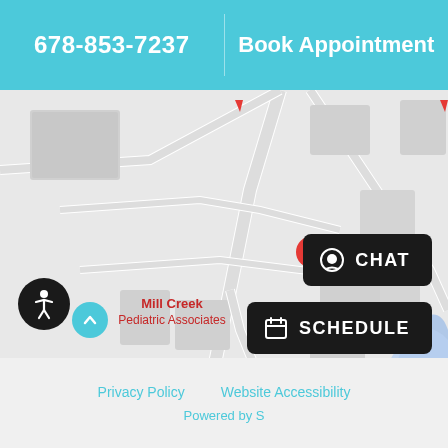678-853-7237
Book Appointment
[Figure (map): Google Maps screenshot showing Mill Creek Pediatric Associates location marker on a street map, with road layouts, building footprints, and a blue body of water to the right.]
Privacy Policy
Website Accessibility
Powered by S
CHAT
SCHEDULE